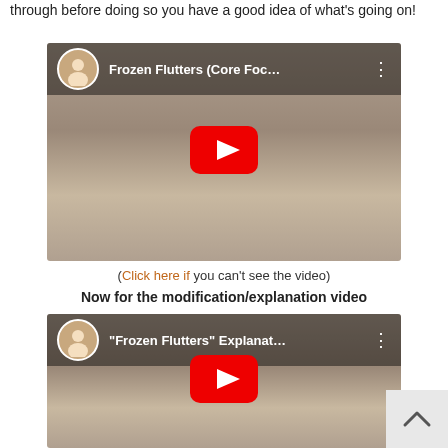through before doing so you have a good idea of what's going on!
[Figure (screenshot): YouTube video thumbnail for 'Frozen Flutters (Core Foc...' showing a woman performing a side plank exercise on a gym floor, with a red YouTube play button overlay and channel avatar in the top left.]
(Click here if you can't see the video)
Now for the modification/explanation video
[Figure (screenshot): YouTube video thumbnail for '"Frozen Flutters" Explanat...' showing two women performing a core floor exercise, with a red YouTube play button overlay and channel avatar in the top left.]